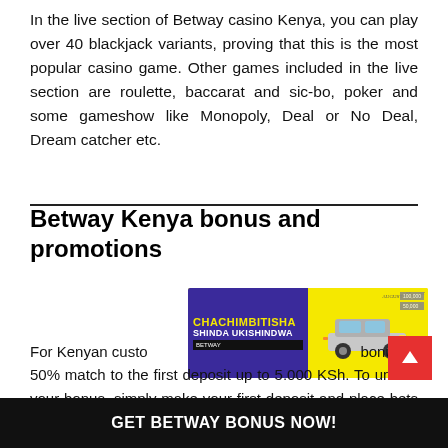In the live section of Betway casino Kenya, you can play over 40 blackjack variants, proving that this is the most popular casino game. Other games included in the live section are roulette, baccarat and sic-bo, poker and some gameshow like Monopoly, Deal or No Deal, Dream catcher etc.
Betway Kenya bonus and promotions
[Figure (photo): Advertisement banner for Chachimbitisha promotion — yellow background with purple left panel reading CHACHIMBITISHA SHINDA UKISHINDWA, and a silver SUV on the right.]
For Kenyan customers, Betway offers a welcome bonus of 50% match to the first deposit up to 5.000 KSh. To unlock your bonus, simply make your first deposit and place bets on Sports, Virtuals or Jackpots equivalent to 3x the value of your first deposit amount on odds of 3.0 or higher. Bets placed on casino and bet games do not contribute to fulfilling opening offer requirements.
GET BETWAY BONUS NOW!